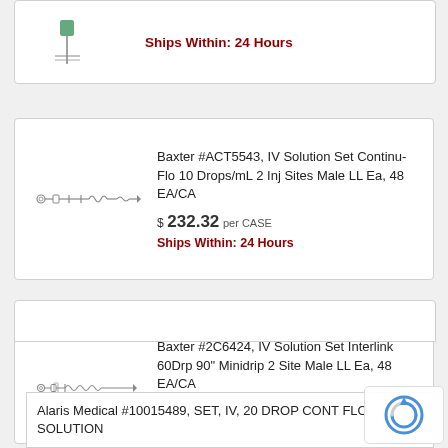[Figure (illustration): IV solution set tubing product image, small partial card at top]
Ships Within: 24 Hours
[Figure (illustration): IV solution set tubing - Baxter ACT5543 Continu-Flo product image]
Baxter #ACT5543, IV Solution Set Continu-Flo 10 Drops/mL 2 Inj Sites Male LL Ea, 48 EA/CA
$ 232.32 per CASE
Ships Within: 24 Hours
[Figure (illustration): IV solution set tubing - Baxter 2C6424 Interlink product image]
Baxter #2C6424, IV Solution Set Interlink 60Drp 90" Minidrip 2 Site Male LL Ea, 48 EA/CA
$ 309.60 per CASE
Ships Within: 24 Hours
[Figure (illustration): IV solution set - Alaris Medical product image partial]
Alaris Medical #10015489, SET, IV, 20 DROP CONT FLO SOLUTION